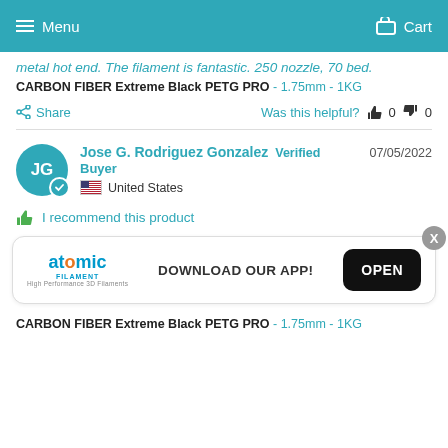Menu   Cart
metal hot end. The filament is fantastic. 250 nozzle, 70 bed.
CARBON FIBER Extreme Black PETG PRO - 1.75mm - 1KG
Share   Was this helpful?  0  0
Jose G. Rodriguez Gonzalez  Verified Buyer  07/05/2022  United States
I recommend this product
[Figure (screenshot): App download banner with Atomic Filament logo, text 'DOWNLOAD OUR APP!', and OPEN button]
CARBON FIBER Extreme Black PETG PRO - 1.75mm - 1KG